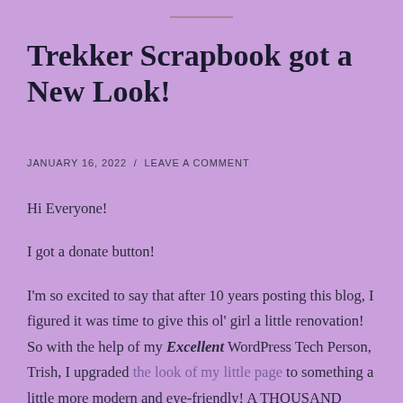Trekker Scrapbook got a New Look!
JANUARY 16, 2022 / LEAVE A COMMENT
Hi Everyone!
I got a donate button!
I'm so excited to say that after 10 years posting this blog, I figured it was time to give this ol' girl a little renovation! So with the help of my Excellent WordPress Tech Person, Trish, I upgraded the look of my little page to something a little more modern and eye-friendly! A THOUSAND thanks, Trish! To be fair, the old web design